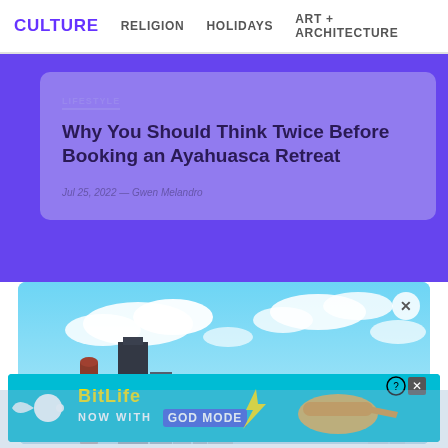CULTURE   RELIGION   HOLIDAYS   ART + ARCHITECTURE
LIFESTYLE
Why You Should Think Twice Before Booking an Ayahuasca Retreat
Jul 25, 2022 — Gwen Melandro
[Figure (photo): City skyline with blue sky and clouds, buildings including tall skyscrapers visible]
[Figure (screenshot): BitLife advertisement banner: 'NOW WITH GOD MODE' on cyan background with pointing hand graphic]